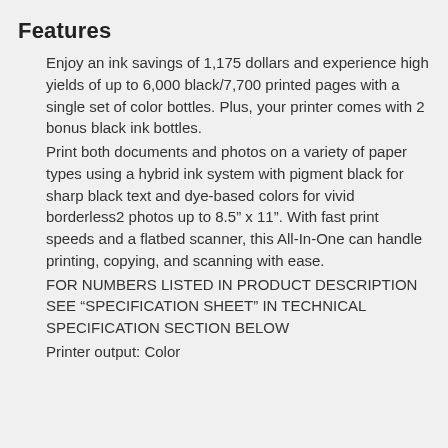Features
Enjoy an ink savings of 1,175 dollars and experience high yields of up to 6,000 black/7,700 printed pages with a single set of color bottles. Plus, your printer comes with 2 bonus black ink bottles.
Print both documents and photos on a variety of paper types using a hybrid ink system with pigment black for sharp black text and dye-based colors for vivid borderless2 photos up to 8.5" x 11". With fast print speeds and a flatbed scanner, this All-In-One can handle printing, copying, and scanning with ease.
FOR NUMBERS LISTED IN PRODUCT DESCRIPTION SEE “SPECIFICATION SHEET” IN TECHNICAL SPECIFICATION SECTION BELOW
Printer output: Color